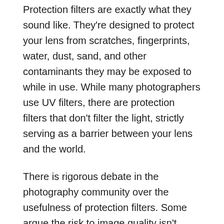Protection filters are exactly what they sound like. They're designed to protect your lens from scratches, fingerprints, water, dust, sand, and other contaminants they may be exposed to while in use. While many photographers use UV filters, there are protection filters that don't filter the light, strictly serving as a barrier between your lens and the world.
There is rigorous debate in the photography community over the usefulness of protection filters. Some argue the risk to image quality isn't worth the protection the filter offers. Others counter that only inferior lens filters disrupt image quality, while a high quality protection filter prevents permanent damage, another threat to overall image quality.
Some photographers prefer to use a lens hood to protect their lens without the risk of distortion or flare. However, a lens hood cannot protect the lens from contaminants the same way a protection filter can.